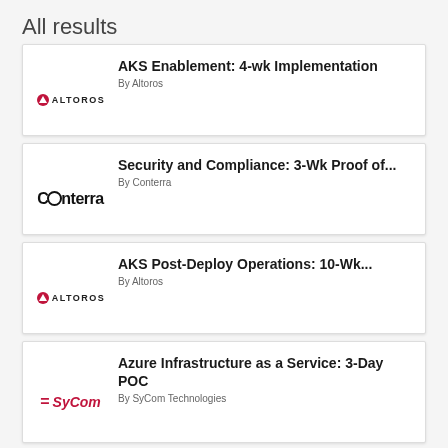All results
AKS Enablement: 4-wk Implementation
By Altoros
Security and Compliance: 3-Wk Proof of...
By Conterra
AKS Post-Deploy Operations: 10-Wk...
By Altoros
Azure Infrastructure as a Service: 3-Day POC
By SyCom Technologies